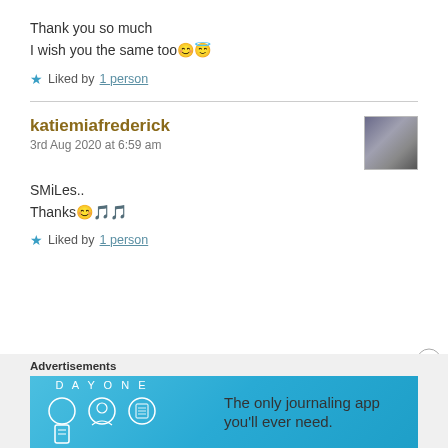Thank you so much
I wish you the same too 😊😇
★ Liked by 1 person
katiemiafrederick
3rd Aug 2020 at 6:59 am
SMiLes..
Thanks 😊🎵🎵
★ Liked by 1 person
Advertisements
[Figure (screenshot): Day One journaling app advertisement banner with cyan/blue background showing app icons and tagline 'The only journaling app you'll ever need.']